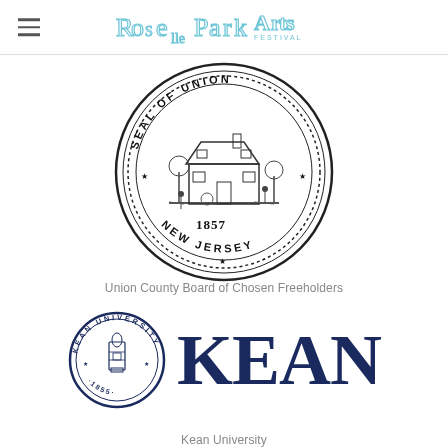Roselle Park Arts Festival
[Figure (logo): Seal of Union County, New Jersey - circular black and white official seal with a farmhouse scene and the year 1857, text reading SEAL OF UNION · NEW JERSEY around the border]
Union County Board of Chosen Freeholders
[Figure (logo): Kean University logo - circular navy blue university seal with the year 1855 on the left and large bold navy KEAN text on the right]
Kean University